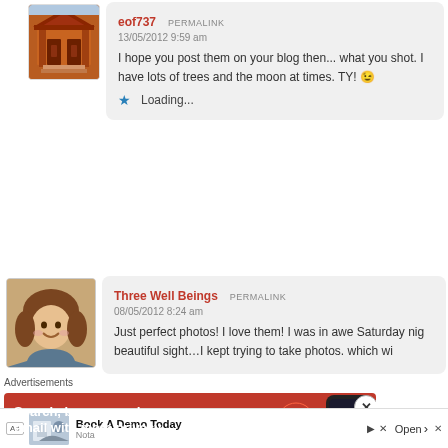[Figure (photo): User avatar showing a Japanese temple gate (red/orange), used as profile photo for eof737]
eof737  PERMALINK
13/05/2012 9:59 am
I hope you post them on your blog then... what you shot. I have lots of trees and the moon at times. TY! 😉
★ Loading...
[Figure (photo): User avatar showing a woman with short brown hair, smiling, used as profile photo for Three Well Beings]
Three Well Beings  PERMALINK
08/05/2012 8:24 am
Just perfect photos! I love them! I was in awe Saturday nig beautiful sight...I kept trying to take photos. which wi
Advertisements
[Figure (screenshot): Advertisement banner: red background with white bold text 'Search, browse, and email with more privacy.' and DuckDuckGo duck icon, next to a phone image. X close button on right.]
[Figure (screenshot): Bottom ad bar: Ad badge, photo of man, 'Book A Demo Today' title, 'Nota' subtitle, Open arrow, play and X buttons.]